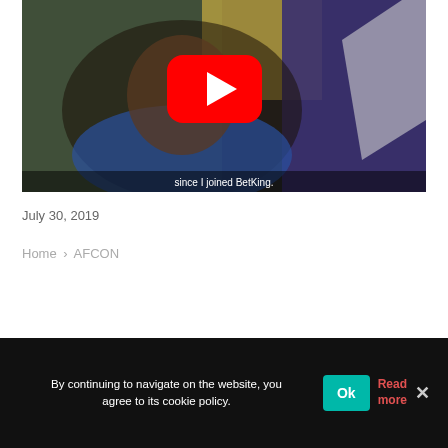[Figure (screenshot): YouTube video thumbnail showing a man in a blue jersey with a YouTube play button overlay. Subtitle reads 'since I joined BetKing.']
July 30, 2019
Home › AFCON
By continuing to navigate on the website, you agree to its cookie policy.